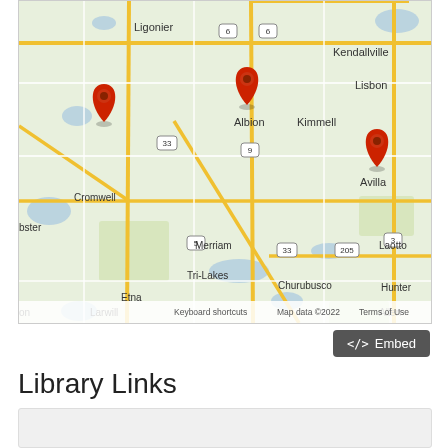[Figure (map): Google Map showing locations in Noble County, Indiana area with three red location markers on Cromwell, Albion, and Avilla. Map shows towns including Ligonier, Kendallville, Lisbon, Kimmell, Merriam, Etna, Tri-Lakes, Churubusco, Laotto, Hunter, Allen, Larwill, and Webster. Roads including routes 5, 6, 9, 33, 3, and 205 are visible. Map footer shows: Keyboard shortcuts | Map data ©2022 | Terms of Use]
<> Embed
Library Links